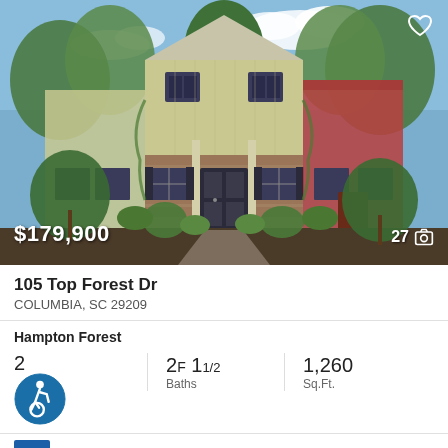[Figure (photo): Exterior photo of a two-story townhouse with beige/tan siding, brick accents, black front door, surrounded by trees and landscaping. Price overlay $179,900 bottom-left, photo count 27 with camera icon bottom-right, heart icon top-right.]
105 Top Forest Dr
COLUMBIA, SC 29209
Hampton Forest
2 [beds] 2F 1 1/2 Baths 1,260 Sq.Ft.
Era Wilder Realty